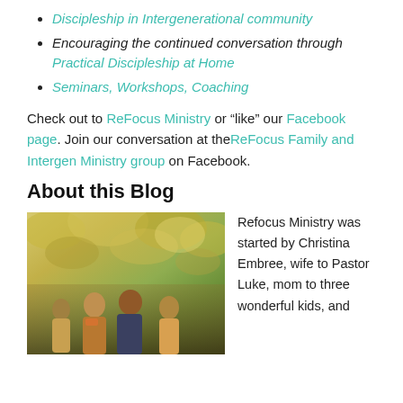Discipleship in Intergenerational community
Encouraging the continued conversation through Practical Discipleship at Home
Seminars, Workshops, Coaching
Check out to ReFocus Ministry or “like” our Facebook page. Join our conversation at theReFocus Family and Intergen Ministry group on Facebook.
About this Blog
[Figure (photo): Family photo of Christina Embree with husband and three children outdoors among autumn foliage]
Refocus Ministry was started by Christina Embree, wife to Pastor Luke, mom to three wonderful kids, and